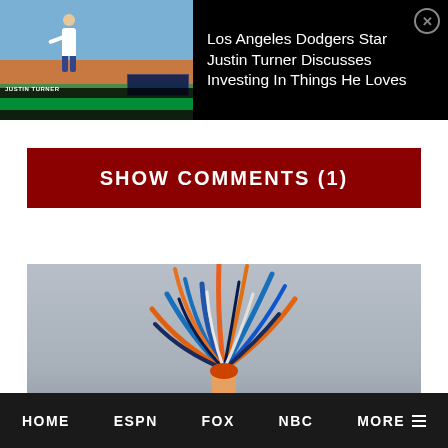[Figure (screenshot): Video thumbnail showing a baseball broadcast with a pitcher on the mound, stadium background, scorebug overlay, and green ticker at the bottom. Appears to be an MLB game broadcast.]
Los Angeles Dodgers Star Justin Turner Discusses Investing In Things He Loves
SHOW COMMENTS (1)
[Figure (photo): Back view of a cheerleader with colorful orange and blue pom-poms in her hair, wearing an orange outfit, against a gray background.]
HOME   ESPN   FOX   NBC   MORE